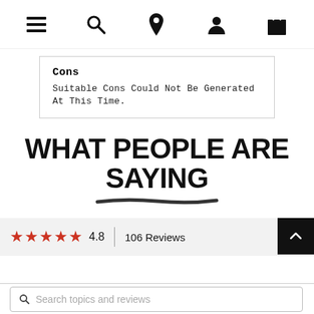[Figure (screenshot): Navigation bar with hamburger menu, search, location pin, user, and shopping bag icons]
Cons
Suitable Cons Could Not Be Generated At This Time.
WHAT PEOPLE ARE SAYING
4.8  106 Reviews
Search topics and reviews